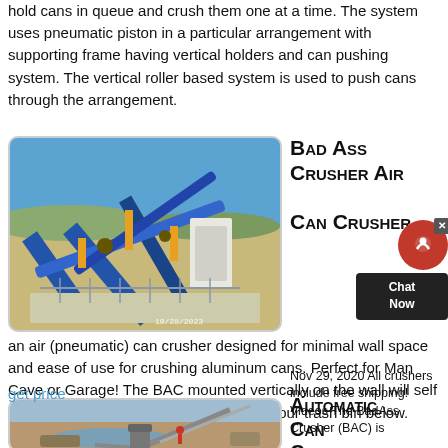hold cans in queue and crush them one at a time. The system uses pneumatic piston in a particular arrangement with supporting frame having vertical holders and can pushing system. The vertical roller based system is used to push cans through the arrangement.
get price
[Figure (photo): Aerial view of an industrial crushing/conveyor machinery setup, blue conveyor belts prominent, timestamp 10/28/2023]
Bad Ass Crusher Air Can Crusher
Nov 29, 2020 All crushers include free shipping! Videos The BadAss Crusher (BAC) is an air (pneumatic) can crusher designed for minimal wall space and ease of use for crushing aluminum cans. Perfect for Man Cave or Garage! The BAC mounted vertically on the wall will self eject the can through the rear, falling in your trash bin below.
get price
[Figure (photo): Industrial machinery with articulated arm/conveyor near a water body, outdoor setting]
Automatic Can Crushers DoRecycling